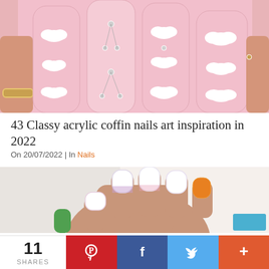[Figure (photo): Close-up of pink acrylic coffin-shaped nails with white cloud designs and silver rhinestone embellishments, with a gold ring visible at the base.]
43 Classy acrylic coffin nails art inspiration in 2022
On 20/07/2022 | In Nails
[Figure (photo): Close-up of a hand with short, rounded white opalescent nails with colorful (orange, purple, green) accent nails.]
11 SHARES  Pinterest  Facebook  Twitter  +